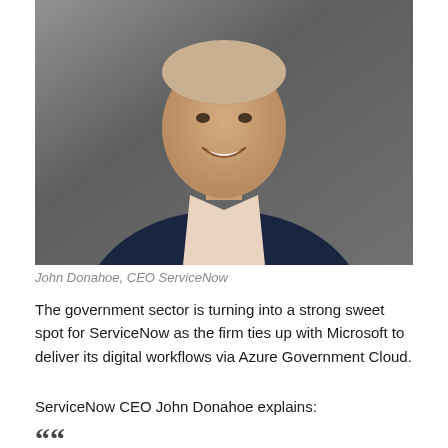[Figure (photo): Professional headshot of John Donahoe, CEO of ServiceNow, wearing a dark navy blazer and light shirt, smiling, against a grey background.]
John Donahoe, CEO ServiceNow
The government sector is turning into a strong sweet spot for ServiceNow as the firm ties up with Microsoft to deliver its digital workflows via Azure Government Cloud.
ServiceNow CEO John Donahoe explains:
““